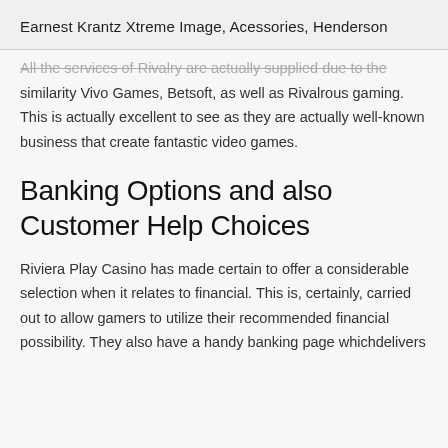Earnest Krantz Xtreme Image, Acessories, Henderson
All the services of Rivalry are actually supplied due to the similarity Vivo Games, Betsoft, as well as Rivalrous gaming. This is actually excellent to see as they are actually well-known business that create fantastic video games.
Banking Options and also Customer Help Choices
Riviera Play Casino has made certain to offer a considerable selection when it relates to financial. This is, certainly, carried out to allow gamers to utilize their recommended financial possibility. They also have a handy banking page whichdelivers